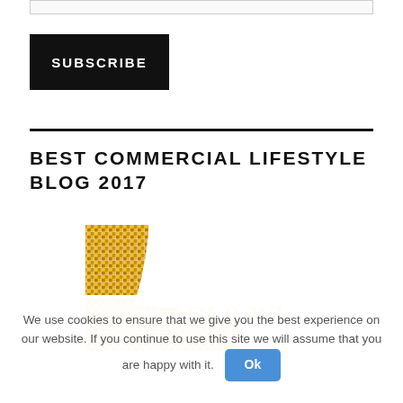SUBSCRIBE
BEST COMMERCIAL LIFESTYLE BLOG 2017
[Figure (logo): Gold Winner award badge/logo with golden mosaic pattern and text GOLD WIN...]
We use cookies to ensure that we give you the best experience on our website. If you continue to use this site we will assume that you are happy with it. Ok